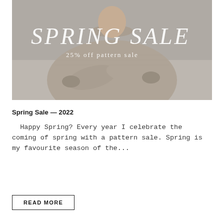[Figure (photo): Person wearing a beige/taupe knit sweater with arms crossed, on a light grey background. Overlaid white text reads 'SPRING SALE' in large serif italic font, with subtitle '25% off pattern sale' in smaller serif font below.]
Spring Sale — 2022
Happy Spring? Every year I celebrate the coming of spring with a pattern sale. Spring is my favourite season of the...
READ MORE